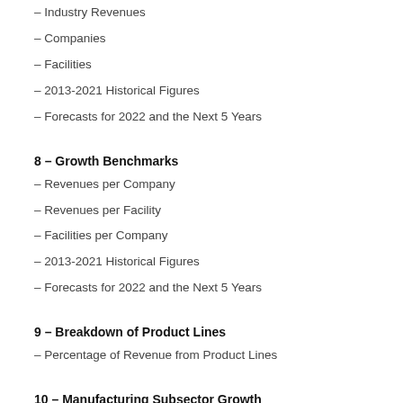– Industry Revenues
– Companies
– Facilities
– 2013-2021 Historical Figures
– Forecasts for 2022 and the Next 5 Years
8 – Growth Benchmarks
– Revenues per Company
– Revenues per Facility
– Facilities per Company
– 2013-2021 Historical Figures
– Forecasts for 2022 and the Next 5 Years
9 – Breakdown of Product Lines
– Percentage of Revenue from Product Lines
10 – Manufacturing Subsector Growth
– Sales and 5 Year CAGR